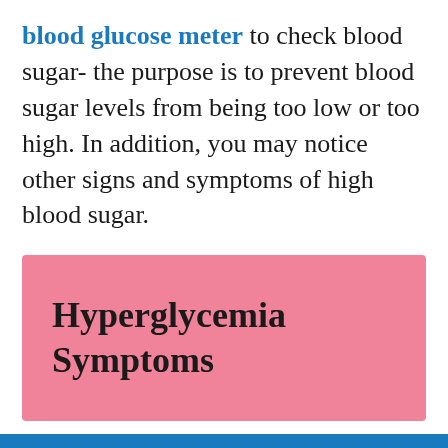blood glucose meter to check blood sugar- the purpose is to prevent blood sugar levels from being too low or too high. In addition, you may notice other signs and symptoms of high blood sugar.
[Figure (infographic): Pink rectangular box containing bold text 'Hyperglycemia Symptoms']
The most common symptoms of high blood sugar are: